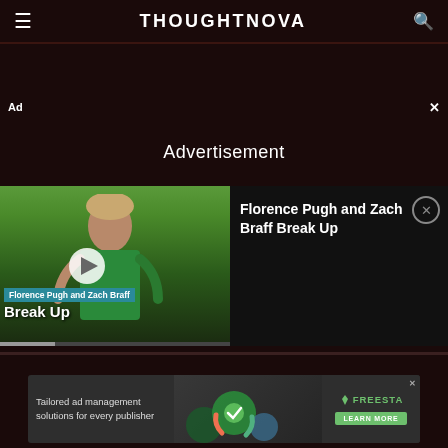THOUGHTNOVA
Ad
Advertisement
[Figure (screenshot): Video player showing Florence Pugh with overlay text 'Florence Pugh and Zach Braff Break Up', with a play button and blue label overlay. Right panel shows title text 'Florence Pugh and Zach Braff Break Up' with a close button.]
[Figure (infographic): Advertisement banner for Freesta with text 'Tailored ad management solutions for every publisher' and a 'Learn More' button.]